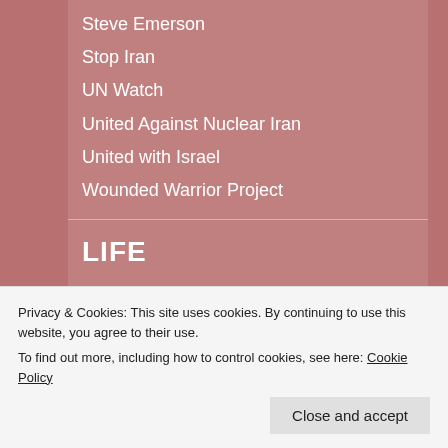Steve Emerson
Stop Iran
UN Watch
United Against Nuclear Iran
United with Israel
Wounded Warrior Project
LIFE
Abort73
Abortion Changes You
Abortion Recovery International
Abstinence Clearinghouse
Privacy & Cookies: This site uses cookies. By continuing to use this website, you agree to their use. To find out more, including how to control cookies, see here: Cookie Policy
Close and accept